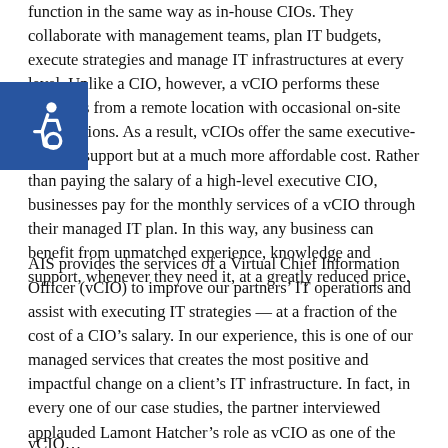function in the same way as in-house CIOs. They collaborate with management teams, plan IT budgets, execute strategies and manage IT infrastructures at every level. Unlike a CIO, however, a vCIO performs these functions from a remote location with occasional on-site consultations. As a result, vCIOs offer the same executive-level IT support but at a much more affordable cost. Rather than paying the salary of a high-level executive CIO, businesses pay for the monthly services of a vCIO through their managed IT plan. In this way, any business can benefit from unmatched experience, knowledge and support, whenever they need it, at a greatly reduced price.
AIS provides the services of a Virtual Chief Information Officer (vCIO) to improve our partners' IT operations and assist with executing IT strategies — at a fraction of the cost of a CIO's salary. In our experience, this is one of our managed services that creates the most positive and impactful change on a client's IT infrastructure. In fact, in every one of our case studies, the partner interviewed applauded Lamont Hatcher's role as vCIO as one of the game-changing benefits of working with us. If you're still skeptical of the idea that your business could benefit from a vCIO...